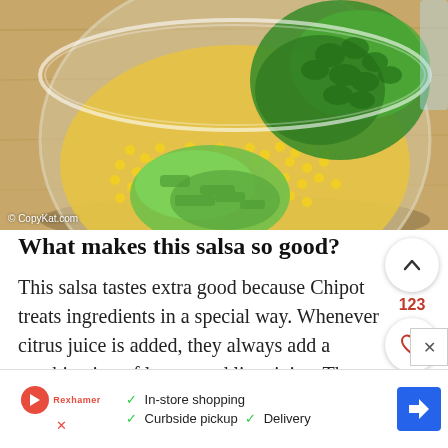[Figure (photo): Overhead view of a glass bowl containing corn kernels, chopped green onions, and fresh cilantro on a wooden cutting board. Watermark reads '© CopyKat.com'.]
What makes this salsa so good?
This salsa tastes extra good because Chipot treats ingredients in a special way. Whenever citrus juice is added, they always add a combination of lemon and lime juice. The comb
[Figure (other): Advertisement banner: play button with Rexhamer logo, checkmarks for In-store shopping, Curbside pickup, Delivery, and a blue direction arrow icon.]